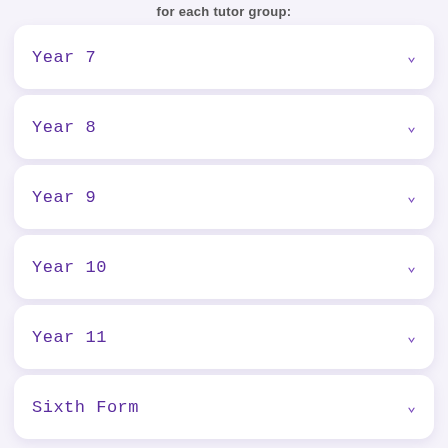for each tutor group:
Year 7
Year 8
Year 9
Year 10
Year 11
Sixth Form